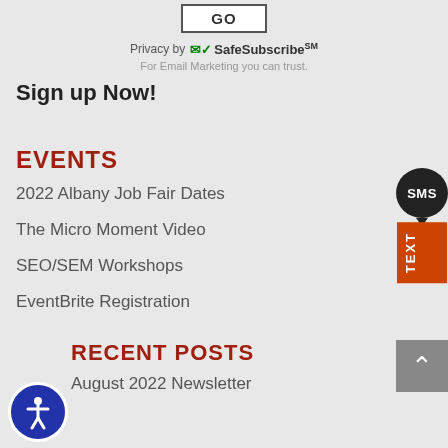[Figure (other): GO button for email form submission]
Privacy by SafeSubscribe℠
For Email Marketing you can trust.
Sign up Now!
EVENTS
2022 Albany Job Fair Dates
The Micro Moment Video
SEO/SEM Workshops
EventBrite Registration
RECENT POSTS
August 2022 Newsletter